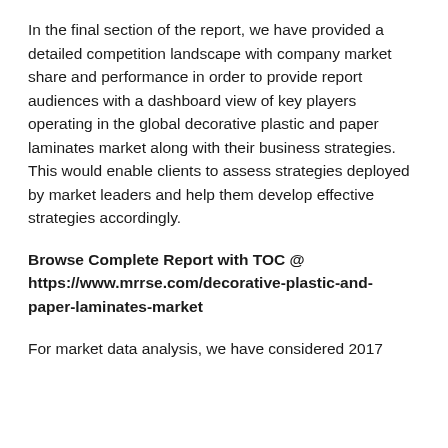In the final section of the report, we have provided a detailed competition landscape with company market share and performance in order to provide report audiences with a dashboard view of key players operating in the global decorative plastic and paper laminates market along with their business strategies. This would enable clients to assess strategies deployed by market leaders and help them develop effective strategies accordingly.
Browse Complete Report with TOC @ https://www.mrrse.com/decorative-plastic-and-paper-laminates-market
For market data analysis, we have considered 2017